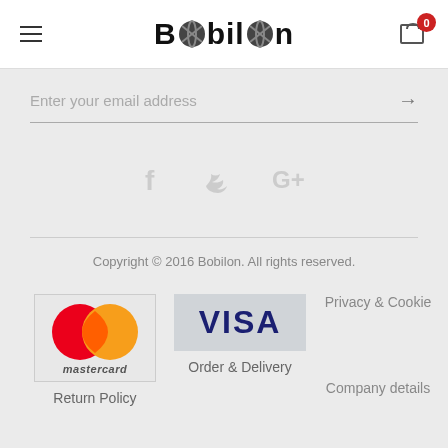Bobilon
Enter your email address
[Figure (illustration): Social media icons: Facebook, Twitter, Google+]
Copyright © 2016 Bobilon. All rights reserved.
[Figure (logo): Mastercard logo with red and orange overlapping circles and 'mastercard' text]
Return Policy
[Figure (logo): VISA logo in dark blue bold text on light gray background]
Order & Delivery
Privacy & Cookie
Company details